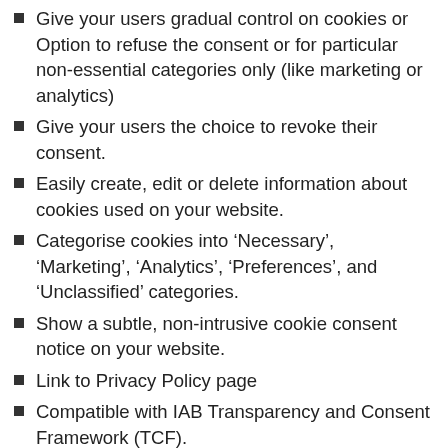Give your users gradual control on cookies or Option to refuse the consent or for particular non-essential categories only (like marketing or analytics)
Give your users the choice to revoke their consent.
Easily create, edit or delete information about cookies used on your website.
Categorise cookies into ‘Necessary’, ‘Marketing’, ‘Analytics’, ‘Preferences’, and ‘Unclassified’ categories.
Show a subtle, non-intrusive cookie consent notice on your website.
Link to Privacy Policy page
Compatible with IAB Transparency and Consent Framework (TCF).
Show cookie consent notice as a Banner, Popup, or Widget.
Default options as per ICO compliance to quickly